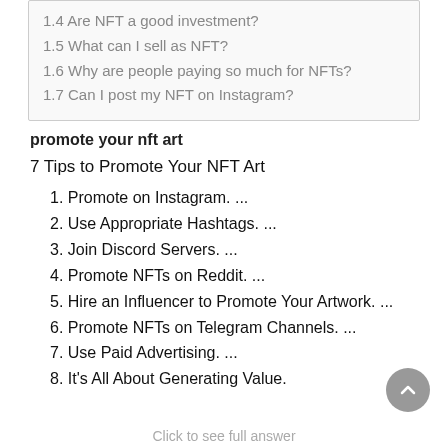1.4 Are NFT a good investment?
1.5 What can I sell as NFT?
1.6 Why are people paying so much for NFTs?
1.7 Can I post my NFT on Instagram?
promote your nft art
7 Tips to Promote Your NFT Art
1. Promote on Instagram. ...
2. Use Appropriate Hashtags. ...
3. Join Discord Servers. ...
4. Promote NFTs on Reddit. ...
5. Hire an Influencer to Promote Your Artwork. ...
6. Promote NFTs on Telegram Channels. ...
7. Use Paid Advertising. ...
8. It's All About Generating Value.
Click to see full answer